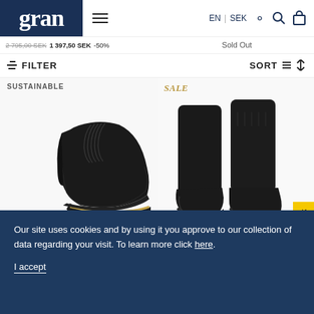gran | EN | SEK
2 795,00 SEK 1 397,50 SEK -50% | Sold Out
FILTER | SORT
[Figure (photo): Black slip-on loafer shoe with gold accent sole, labeled SUSTAINABLE]
[Figure (photo): Black ankle boots on chunky sole, labeled SALE]
242g bla
Sol
VEGAN
Our site uses cookies and by using it you approve to our collection of data regarding your visit. To learn more click here.

I accept